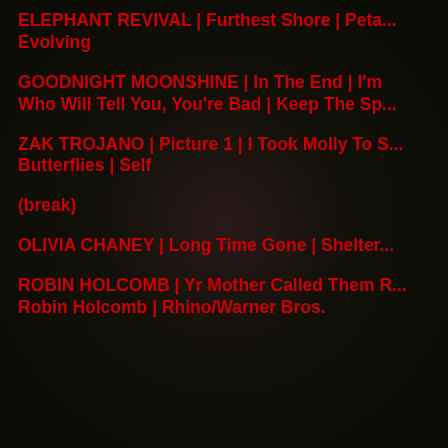ELEPHANT REVIVAL | Furthest Shore | Peta... Evolving
GOODNIGHT MOONSHINE | In The End | I'm Who Will Tell You, You're Bad | Keep The Spa...
ZAK TROJANO | Picture 1 | I Took Molly To S... Butterflies | Self
(break)
OLIVIA CHANEY | Long Time Gone | Shelter...
ROBIN HOLCOMB | Yr Mother Called Them R... Robin Holcomb | Rhino/Warner Bros.